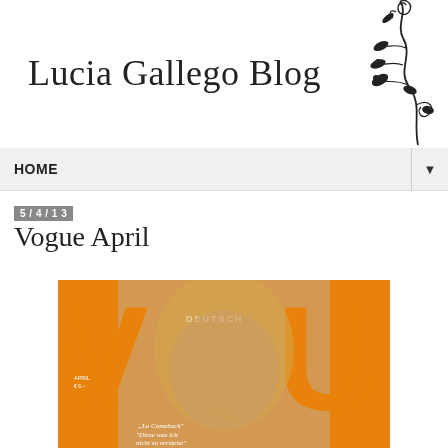Lucia Gallego Blog
[Figure (illustration): Decorative floral/vine ornament in black ink, top-right corner of header]
HOME
5/4/13
Vogue April
[Figure (photo): Vogue Deutschland magazine cover showing a woman with blonde hair against an orange VOGUE logo. Cover lines include 'DEUTSCH' text and German text at the bottom reading 'Lu Comeback' 'Diese was ich nicht so verstehe' 'Tina Turner']